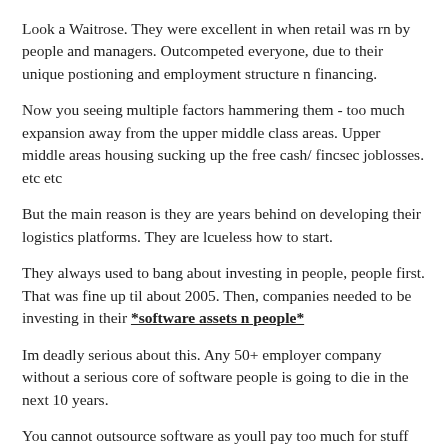Look a Waitrose. They were excellent in when retail was rn by people and managers. Outcompeted everyone, due to their unique postioning and employment structure n financing.
Now you seeing multiple factors hammering them - too much expansion away from the upper middle class areas. Upper middle areas housing sucking up the free cash/ fincsec joblosses. etc etc
But the main reason is they are years behind on developing their logistics platforms. They are lcueless how to start.
They always used to bang about investing in people, people first. That was fine up til about 2005. Then, companies needed to be investing in their *software assets n people*
Im deadly serious about this. Any 50+ employer company without a serious core of software people is going to die in the next 10 years.
You cannot outsource software as youll pay too much for stuff that does not meet your exact business needs.